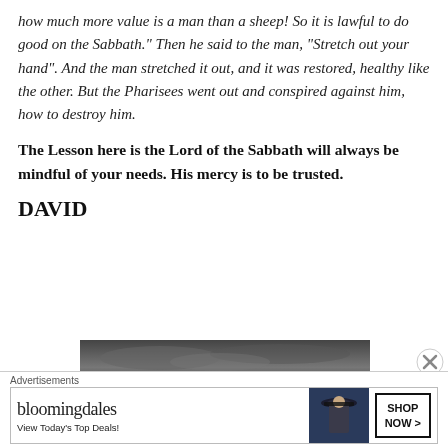how much more value is a man than a sheep! So it is lawful to do good on the Sabbath." Then he said to the man, “Stretch out your hand”. And the man stretched it out, and it was restored, healthy like the other. But the Pharisees went out and conspired against him, how to destroy him.
The Lesson here is the Lord of the Sabbath will always be mindful of your needs. His mercy is to be trusted.
DAVID
[Figure (photo): Black and white landscape photograph, dark cloudy sky]
[Figure (other): Bloomingdale's advertisement banner with logo, model in hat, and SHOP NOW button]